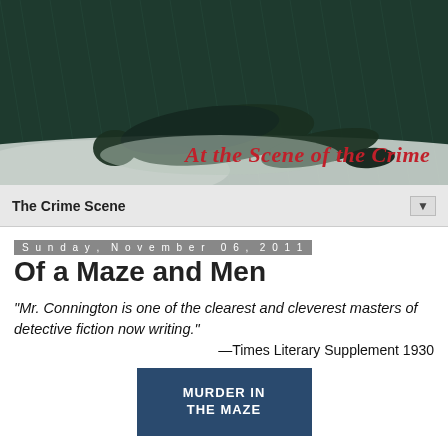[Figure (illustration): Dark teal/green illustrated header image showing a body lying on the ground in what appears to be a rainy crime scene, with cursive red text reading 'At the Scene of the Crime' overlaid on the lower right]
The Crime Scene
Sunday, November 06, 2011
Of a Maze and Men
"Mr. Connington is one of the clearest and cleverest masters of detective fiction now writing."
—Times Literary Supplement 1930
[Figure (photo): Partial book cover showing text 'MURDER IN THE MAZE' on a dark blue/teal background]